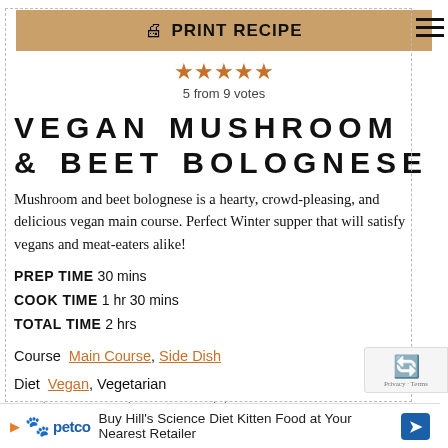[Figure (other): Print recipe button with printer icon, tan/beige background]
[Figure (other): Five orange stars rating display, 5 from 9 votes]
VEGAN MUSHROOM & BEET BOLOGNESE
Mushroom and beet bolognese is a hearty, crowd-pleasing, and delicious vegan main course. Perfect Winter supper that will satisfy vegans and meat-eaters alike!
PREP TIME 30 mins
COOK TIME 1 hr 30 mins
TOTAL TIME 2 hrs
Course Main Course, Side Dish
Diet Vegan, Vegetarian
Servings: 4    Author: Laura Wright
[Figure (other): Advertisement: Buy Hill's Science Diet Kitten Food at Your Nearest Retailer - petco ad]